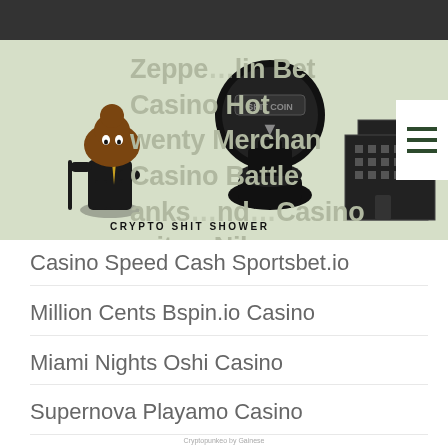[Figure (logo): Crypto Shit Shower logo with cartoon poop character and toilet building, text overlaid with casino game names in grey]
Casino Speed Cash Sportsbet.io
Million Cents Bspin.io Casino
Miami Nights Oshi Casino
Supernova Playamo Casino
Fantastic Fruit 1xBit Casino
Satoshi's Secret
Cryptopunkeo by Gainese